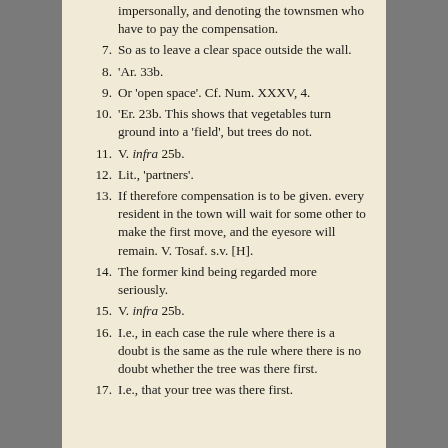impersonally, and denoting the townsmen who have to pay the compensation.
7. So as to leave a clear space outside the wall.
8. 'Ar. 33b.
9. Or 'open space'. Cf. Num. XXXV, 4.
10. 'Er. 23b. This shows that vegetables turn ground into a 'field', but trees do not.
11. V. infra 25b.
12. Lit., 'partners'.
13. If therefore compensation is to be given. every resident in the town will wait for some other to make the first move, and the eyesore will remain. V. Tosaf. s.v. [H].
14. The former kind being regarded more seriously.
15. V. infra 25b.
16. I.e., in each case the rule where there is a doubt is the same as the rule where there is no doubt whether the tree was there first.
17. I.e., that your tree was there first.